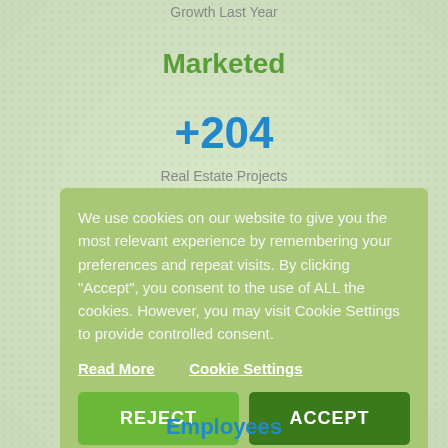Growth Last Year
Marketed
+204
Real Estate Projects
We use cookies on our website to give you the most relevant experience by remembering your preferences and repeat visits. By clicking “Accept”, you consent to the use of ALL the cookies. However, you may visit Cookie Settings to provide controlled consent.
Read More   Cookie Settings
REJECT   ACCEPT
Employees